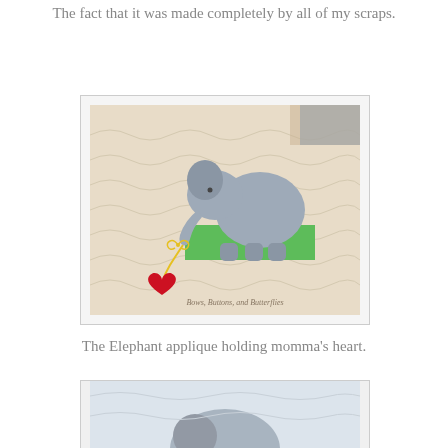The fact that it was made completely by all of my scraps.
[Figure (photo): Close-up photo of a quilt featuring a gray elephant applique holding a red heart on a yellow string, standing on a green rectangle, on a white textured quilted background. Watermark reads 'Bows, Buttons, and Butterflies.']
The Elephant applique holding momma's heart.
[Figure (photo): Partial photo showing the top portion of a gray elephant applique on a white quilted background.]